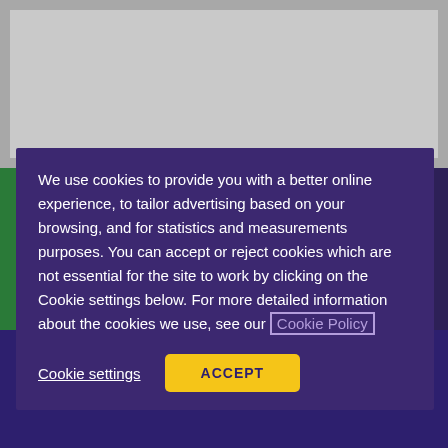[Figure (screenshot): Gray banner area at top of webpage, partially obscured]
We use cookies to provide you with a better online experience, to tailor advertising based on your browsing, and for statistics and measurements purposes. You can accept or reject cookies which are not essential for the site to work by clicking on the Cookie settings below. For more detailed information about the cookies we use, see our Cookie Policy
Cookie settings
ACCEPT
Considering completing the GDL online? Take a look at which institutions offer this option, what to consider in choosing a course and the benefits of studying remotely.